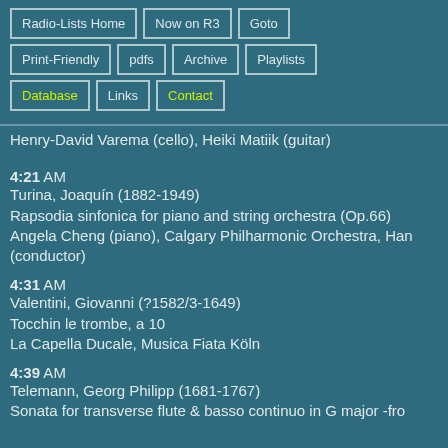Radio-Lists Home | Now on R3 | Goto | Print-Friendly | pdfs | Archive | Playlists | Database | Links | Contact
Henry-David Varema (cello), Heiki Matiik (guitar)
4:21 AM
Turina, Joaquín (1882-1949)
Rapsodia sinfonica for piano and string orchestra (Op.66)
Angela Cheng (piano), Calgary Philharmonic Orchestra, Han (conductor)
4:31 AM
Valentini, Giovanni (?1582/3-1649)
Tocchin le trombe, a 10
La Capella Ducale, Musica Fiata Köln
4:39 AM
Telemann, Georg Philipp (1681-1767)
Sonata for transverse flute & basso continuo in G major -fro